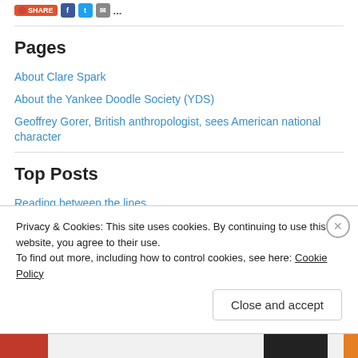[Figure (screenshot): Share button bar with social icons (Facebook, Twitter, email, more)]
Pages
About Clare Spark
About the Yankee Doodle Society (YDS)
Geoffrey Gorer, British anthropologist, sees American national character
Top Posts
Reading between the lines
Privacy & Cookies: This site uses cookies. By continuing to use this website, you agree to their use.
To find out more, including how to control cookies, see here: Cookie Policy
Close and accept